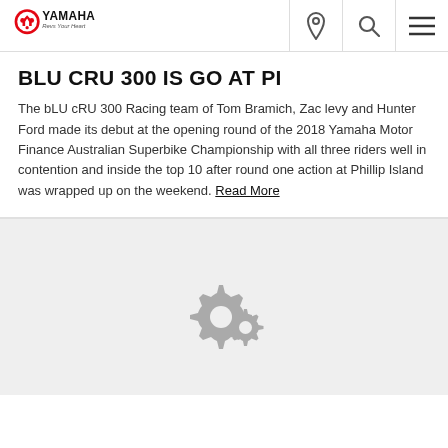YAMAHA - Revs Your Heart
BLU CRU 300 IS GO AT PI
The bLU cRU 300 Racing team of Tom Bramich, Zac levy and Hunter Ford made its debut at the opening round of the 2018 Yamaha Motor Finance Australian Superbike Championship with all three riders well in contention and inside the top 10 after round one action at Phillip Island was wrapped up on the weekend. Read More
[Figure (illustration): Two grey gear/cog icons on a light grey background, indicating loading or settings]